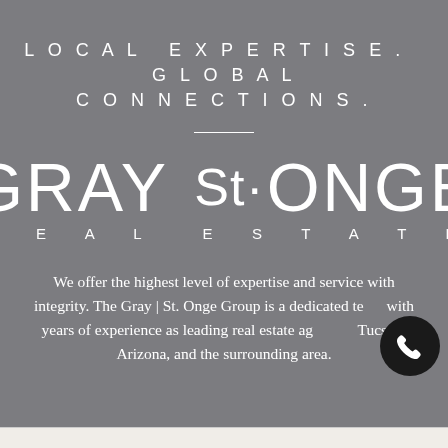LOCAL EXPERTISE. GLOBAL CONNECTIONS.
[Figure (logo): Gray St. Onge Real Estate logo — large serif/sans-serif white text on gray background reading 'GRAY St·ONGE' with 'REAL ESTATE' below in spaced caps]
We offer the highest level of expertise and service with integrity. The Gray | St. Onge Group is a dedicated team with years of experience as leading real estate agents in Tucson, Arizona, and the surrounding area.